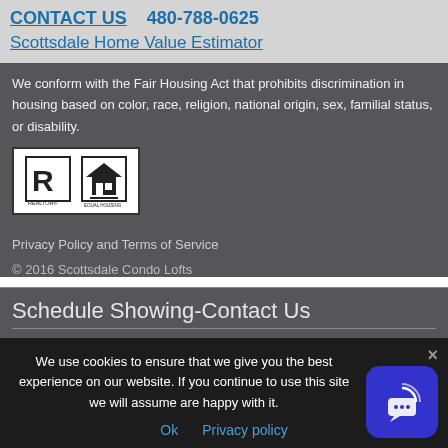CONTACT US   480-788-0625
Scottsdale Home Value Estimator
We conform with the Fair Housing Act that prohibits discrimination in housing based on color, race, religion, national origin, sex, familial status, or disability.
[Figure (logo): Realtor and Equal Housing Opportunity logos side by side in a white bordered box]
Privacy Policy and Terms of Service
© 2016 Scottsdale Condo Lofts
Schedule Showing-Contact Us
Fields marked with an * are required
We use cookies to ensure that we give you the best experience on our website. If you continue to use this site we will assume are happy with it.
Ok   Privacy policy